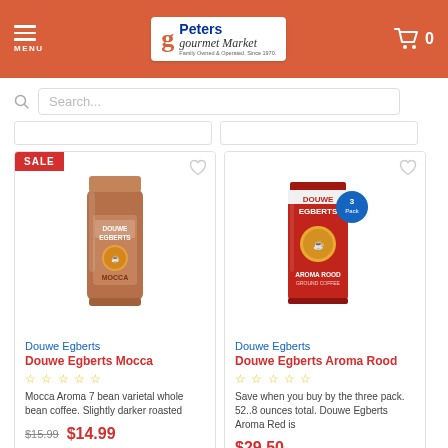Peters Gourmet Market — Family Owned & Operated. Since 1970.
Search...
[Figure (photo): Douwe Egberts Mocca whole bean coffee bag, brown packaging with SALE badge]
Douwe Egberts
Douwe Egberts Mocca
Mocca Aroma 7 bean varietal whole bean coffee. Slightly darker roasted
$15.99  $14.99
[Figure (photo): Douwe Egberts Aroma Rood red coffee package with 3-Pack badge]
Douwe Egberts
Douwe Egberts Aroma Rood
Save when you buy by the three pack. 52..8 ounces total. Douwe Egberts Aroma Red is
$29.50